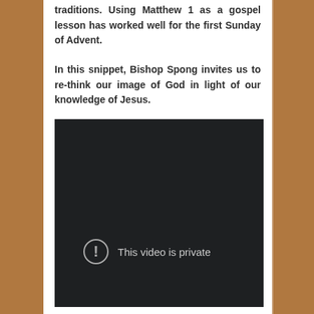traditions. Using Matthew 1 as a gospel lesson has worked well for the first Sunday of Advent.
In this snippet, Bishop Spong invites us to re-think our image of God in light of our knowledge of Jesus.
[Figure (screenshot): Embedded video player showing a dark screen with the message 'This video is private' and a circle-exclamation icon.]